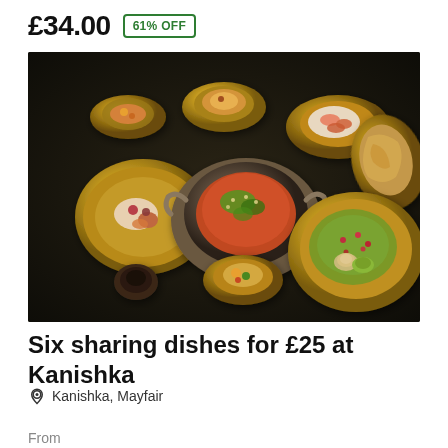£34.00  61% OFF
[Figure (photo): Overhead shot of multiple Indian dishes served in ornate gold and brass bowls on a dark table at Kanishka restaurant, Mayfair]
Six sharing dishes for £25 at Kanishka
Kanishka, Mayfair
From